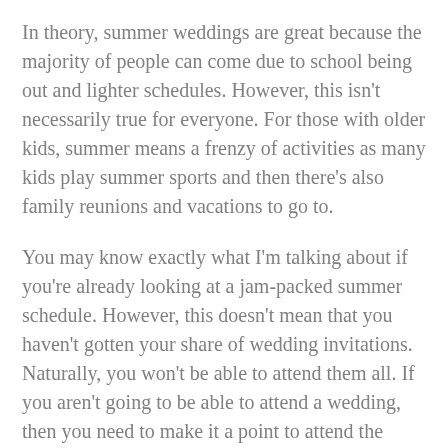In theory, summer weddings are great because the majority of people can come due to school being out and lighter schedules. However, this isn't necessarily true for everyone. For those with older kids, summer means a frenzy of activities as many kids play summer sports and then there's also family reunions and vacations to go to.
You may know exactly what I'm talking about if you're already looking at a jam-packed summer schedule. However, this doesn't mean that you haven't gotten your share of wedding invitations. Naturally, you won't be able to attend them all. If you aren't going to be able to attend a wedding, then you need to make it a point to attend the bridal shower.
Many people don't like attending bridal showers because they take up a portion of a Saturday that could be spent doing something else and everyone at the shower sees the